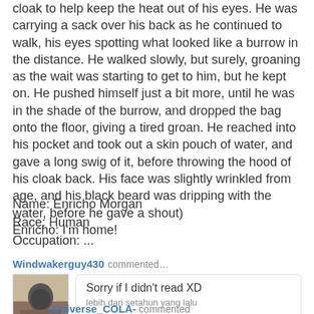cloak to help keep the heat out of his eyes. He was carrying a sack over his back as he continued to walk, his eyes spotting what looked like a burrow in the distance. He walked slowly, but surely, groaning as the wait was starting to get to him, but he kept on. He pushed himself just a bit more, until he was in the shade of the burrow, and dropped the bag onto the floor, giving a tired groan. He reached into his pocket and took out a skin pouch of water, and gave a long swig of it, before throwing the hood of his cloak back. His face was slightly wrinkled from age, and his black beard was dripping with the water, before he gave a shout)
Enricho: I'm home!
Name: Enricho Morgan
Race: Human
Occupation: ...
Windwakerguy430 commented...
Sorry if I didn't read XD
lebih dari setahun yang lalu
-Universe_COLA- commented...